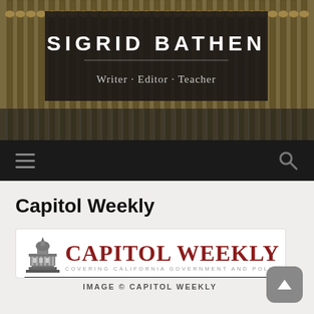[Figure (illustration): Website header banner with typewriter keys background image. Dark box overlay contains the name SIGRID BATHEN in large bold white uppercase letters, a horizontal rule, and subtitle text: Writer · Editor · Teacher in gray.]
[Figure (illustration): Black navigation bar with hamburger menu icon on the left and search/magnifying glass icon on the right.]
Capitol Weekly
[Figure (logo): Capitol Weekly logo: Capitol building illustration on the left, CAPITOL WEEKLY in large dark red serif text, subtitle COVERING CALIFORNIA GOVERNMENT AND POLITICS in small spaced gray capitals below.]
IMAGE © CAPITOL WEEKLY